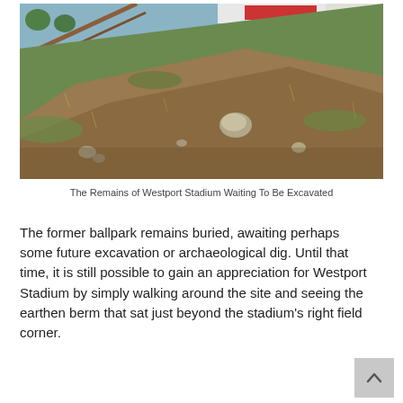[Figure (photo): Photograph of the remains of Westport Stadium, showing a grassy earthen berm/slope with scattered rocks and dry grass, with a sign partially visible at the top of the hill.]
The Remains of Westport Stadium Waiting To Be Excavated
The former ballpark remains buried, awaiting perhaps some future excavation or archaeological dig. Until that time, it is still possible to gain an appreciation for Westport Stadium by simply walking around the site and seeing the earthen berm that sat just beyond the stadium's right field corner.